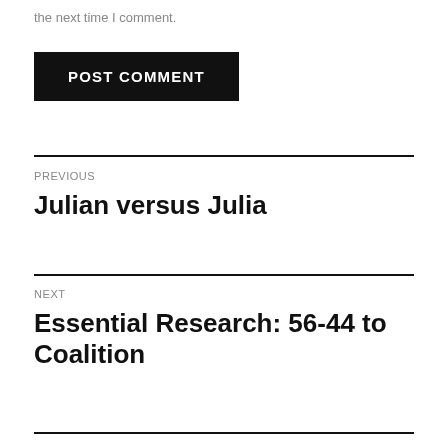the next time I comment.
[Figure (other): Black POST COMMENT button]
PREVIOUS
Julian versus Julia
NEXT
Essential Research: 56-44 to Coalition